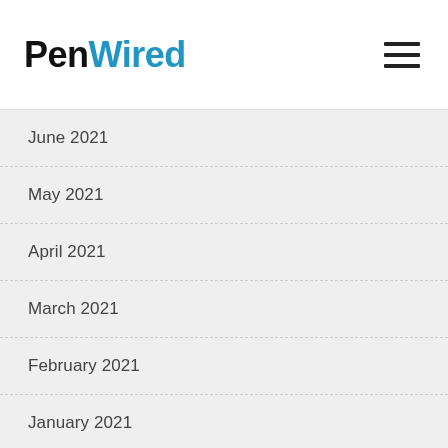PenWired
June 2021
May 2021
April 2021
March 2021
February 2021
January 2021
December 2020
November 2020